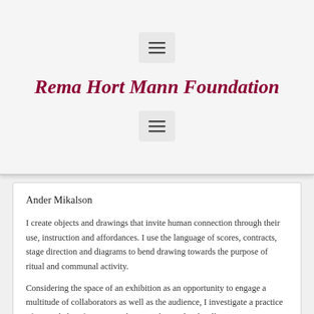[Figure (screenshot): Menu hamburger icon button (three horizontal lines) on light gray background, top position]
Rema Hort Mann Foundation
[Figure (screenshot): Menu hamburger icon button (three horizontal lines) on light gray background, bottom position]
Ander Mikalson
I create objects and drawings that invite human connection through their use, instruction and affordances. I use the language of scores, contracts, stage direction and diagrams to bend drawing towards the purpose of ritual and communal activity.
Considering the space of an exhibition as an opportunity to engage a multitude of collaborators as well as the audience, I investigate a practice of expanded performance, where unrehearsed tasks allow